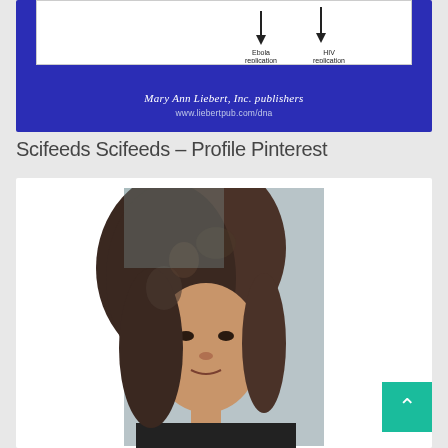[Figure (illustration): Top portion of a scientific journal cover with blue background showing a diagram with arrows labeled 'Ebola replication' and 'HIV replication', with publisher text 'Mary Ann Liebert, Inc. publishers' and website 'www.liebertpub.com/dna']
Scifeeds Scifeeds – Profile Pinterest
[Figure (photo): Profile photo of a young woman with long curly hair, wearing a black top, photo taken as a selfie]